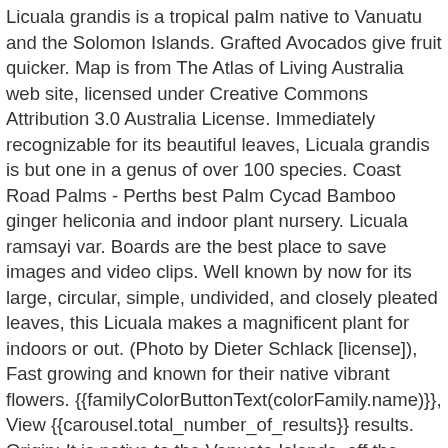Licuala grandis is a tropical palm native to Vanuatu and the Solomon Islands. Grafted Avocados give fruit quicker. Map is from The Atlas of Living Australia web site, licensed under Creative Commons Attribution 3.0 Australia License. Immediately recognizable for its beautiful leaves, Licuala grandis is but one in a genus of over 100 species. Coast Road Palms - Perths best Palm Cycad Bamboo ginger heliconia and indoor plant nursery. Licuala ramsayi var. Boards are the best place to save images and video clips. Well known by now for its large, circular, simple, undivided, and closely pleated leaves, this Licuala makes a magnificent plant for indoors or out. (Photo by Dieter Schlack [license]), Fast growing and known for their native vibrant flowers. {{familyColorButtonText(colorFamily.name)}}, View {{carousel.total_number_of_results}} results. Origin: It is native to the Vanuata Islands, off the coast of Australia. C $65.32. General Description. From shop FernMossDecor. This repository is populated with tens of thousands of assets and should be your first stop for asset selection. fan palms, tropical queensland